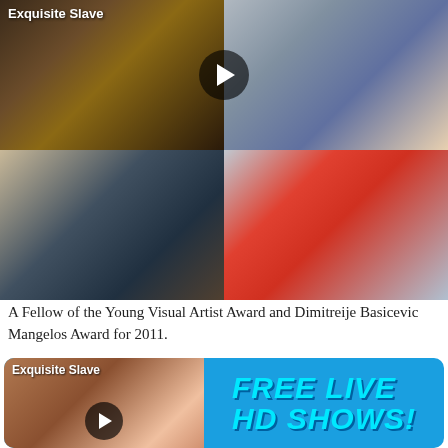[Figure (photo): Grid of four photos: top-left woman in black dress with 'Exquisite Slave' label and play button overlay; top-right woman in floral outfit sitting; bottom-left young woman in dark jacket; bottom-right woman in red floral top]
A Fellow of the Young Visual Artist Award and Dimitreije Basicevic Mangelos Award for 2011.
[Figure (photo): Advertisement banner with photo of woman labeled 'Exquisite Slave' with play button, and blue background with cyan text 'FREE LIVE HD SHOWS!']